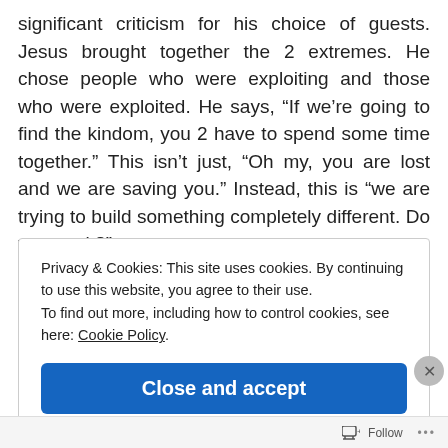significant criticism for his choice of guests. Jesus brought together the 2 extremes. He chose people who were exploiting and those who were exploited. He says, “If we’re going to find the kindom, you 2 have to spend some time together.” This isn’t just, “Oh my, you are lost and we are saving you.” Instead, this is “we are trying to build something completely different. Do you get it?”
Privacy & Cookies: This site uses cookies. By continuing to use this website, you agree to their use.
To find out more, including how to control cookies, see here: Cookie Policy
Close and accept
Follow